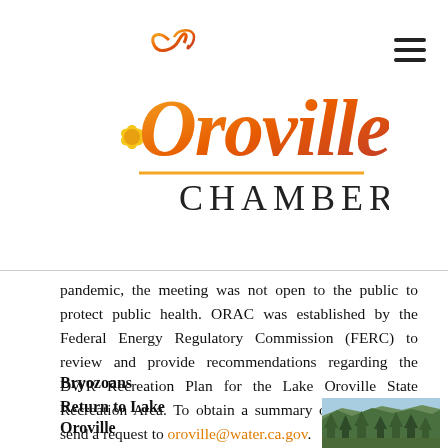Oroville Chamber
pandemic, the meeting was not open to the public to protect public health. ORAC was established by the Federal Energy Regulatory Commission (FERC) to review and provide recommendations regarding the DWR Recreation Plan for the Lake Oroville State Recreation Area. To obtain a summary of the meeting, send a request to oroville@water.ca.gov.
Bryozoans
Return to Lake Oroville
Have you seen strange orange
[Figure (photo): Aerial or hillside photo of forested area with trees and blue sky near Lake Oroville]